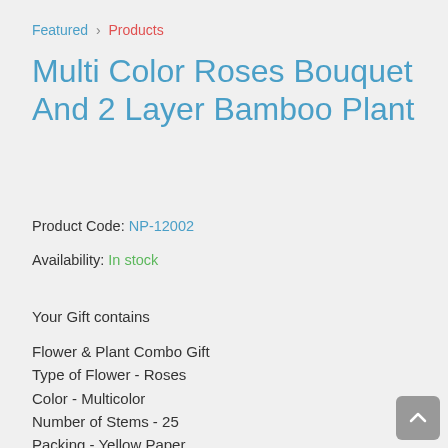Featured > Products
Multi Color Roses Bouquet And 2 Layer Bamboo Plant
Product Code: NP-12002
Availability: In stock
Your Gift contains
Flower & Plant Combo Gift
Type of Flower - Roses
Color - Multicolor
Number of Stems - 25
Packing - Yellow Paper
Type of Plant - 2 Layer Lucky Bamboo with vase attached to it
Please note:
The design of the vase may vary
If you buy this gift on an occasion of Rakhi and Bhai-dooj. We will add 1